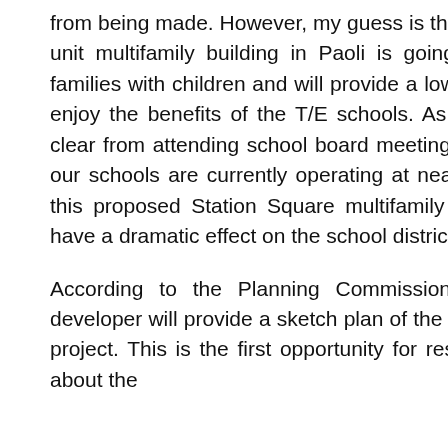from being made. However, my guess is the planned 250-unit multifamily building in Paoli is going to appeal to families with children and will provide a lower cost way to enjoy the benefits of the T/E schools. As an aside, it is clear from attending school board meetings that many of our schools are currently operating at near capacity and this proposed Station Square multifamily building could have a dramatic effect on the school district enrollment.
According to the Planning Commission agenda, the developer will provide a sketch plan of the Station Square project. This is the first opportunity for residents to hear about the